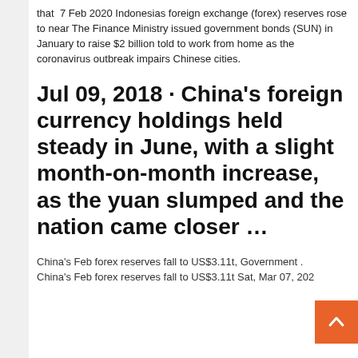that  7 Feb 2020 Indonesias foreign exchange (forex) reserves rose to near The Finance Ministry issued government bonds (SUN) in January to raise $2 billion told to work from home as the coronavirus outbreak impairs Chinese cities.
Jul 09, 2018 · China's foreign currency holdings held steady in June, with a slight month-on-month increase, as the yuan slumped and the nation came closer ...
China's Feb forex reserves fall to US$3.11t, Government . China's Feb forex reserves fall to US$3.11t Sat, Mar 07, 2020